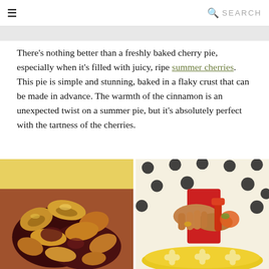≡  SEARCH
There's nothing better than a freshly baked cherry pie, especially when it's filled with juicy, ripe summer cherries. This pie is simple and stunning, baked in a flaky crust that can be made in advance. The warmth of the cinnamon is an unexpected twist on a summer pie, but it's absolutely perfect with the tartness of the cherries.
[Figure (photo): Close-up of a baked cherry pie with decorative pastry cutout topping, golden brown crust pieces with visible cherry filling, nestled in a yellow cloth]
[Figure (photo): Person in polka dot dress pitting cherries over a yellow pie dish with flower-shaped pastry cutouts arranged on top]